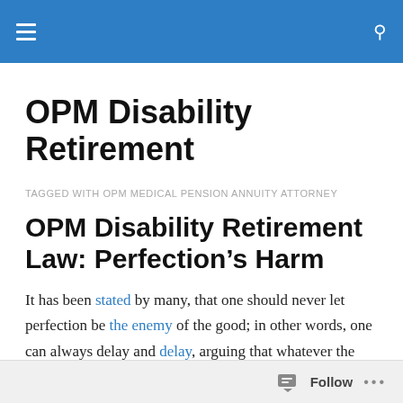OPM Disability Retirement
TAGGED WITH OPM MEDICAL PENSION ANNUITY ATTORNEY
OPM Disability Retirement Law: Perfection’s Harm
It has been stated by many, that one should never let perfection be the enemy of the good; in other words, one can always delay and delay, arguing that whatever the project being attended to, the goal aimed for, it is simply
Follow ...